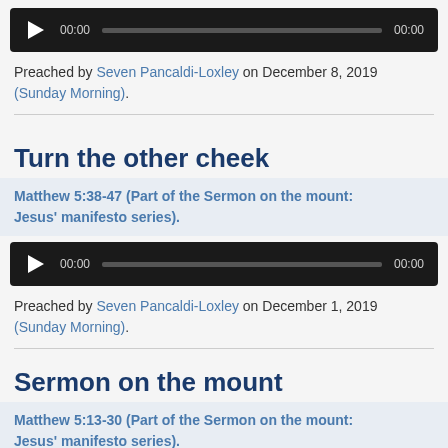[Figure (other): Audio player with play button, 00:00 start time, progress bar, 00:00 end time on dark background]
Preached by Seven Pancaldi-Loxley on December 8, 2019 (Sunday Morning).
Turn the other cheek
Matthew 5:38-47 (Part of the Sermon on the mount: Jesus' manifesto series).
[Figure (other): Audio player with play button, 00:00 start time, progress bar, 00:00 end time on dark background]
Preached by Seven Pancaldi-Loxley on December 1, 2019 (Sunday Morning).
Sermon on the mount
Matthew 5:13-30 (Part of the Sermon on the mount: Jesus' manifesto series).